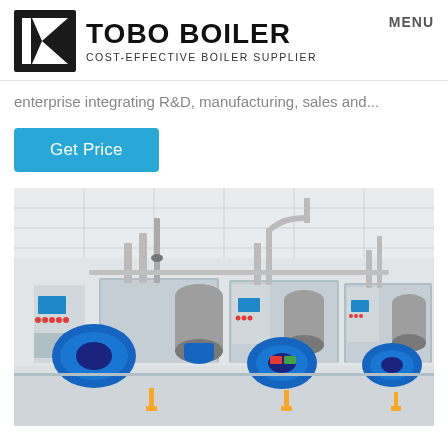TOBO BOILER — COST-EFFECTIVE BOILER SUPPLIER | MENU
enterprise integrating R&D, manufacturing, sales and...
Get Price
[Figure (photo): Three industrial steam boilers with blue burners and control panels installed in a white-walled boiler room. The units are gas-fired fire-tube type boilers, each equipped with blue centrifugal burners, cylindrical water softeners, and control panels with touchscreens.]